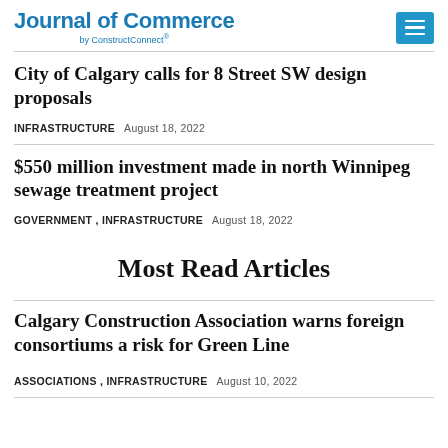Journal of Commerce by ConstructConnect®
City of Calgary calls for 8 Street SW design proposals
INFRASTRUCTURE   August 18, 2022
$550 million investment made in north Winnipeg sewage treatment project
GOVERNMENT , INFRASTRUCTURE   August 18, 2022
Most Read Articles
Calgary Construction Association warns foreign consortiums a risk for Green Line
ASSOCIATIONS , INFRASTRUCTURE   August 10, 2022